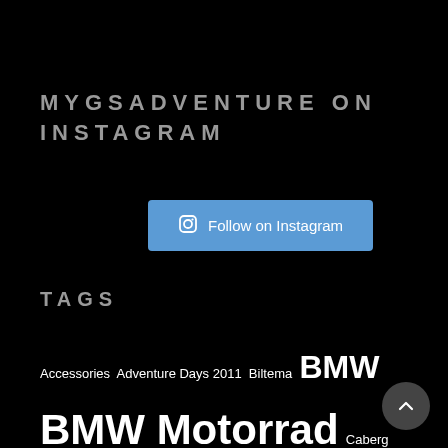MYGSADVENTURE ON INSTAGRAM
Follow on Instagram
TAGS
Accessories Adventure Days 2011 Biltema BMW BMW Motorrad Caberg Caberg Tourmax Continental Dekkmann AS DIY Garmin GlobeRiders GoPro GoPro HD HERO2 GPSMAP 64st Gravel Hand Guards Helge Pedersen Helmet Jæren